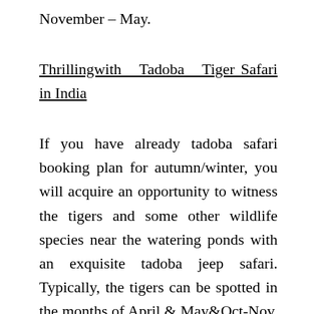November – May.
Thrillingwith Tadoba Tiger Safari in India
If you have already tadoba safari booking plan for autumn/winter, you will acquire an opportunity to witness the tigers and some other wildlife species near the watering ponds with an exquisite tadoba jeep safari. Typically, the tigers can be spotted in the months of April & May&Oct-Nov. In addition, prior-tadoba safari booking also allows you to